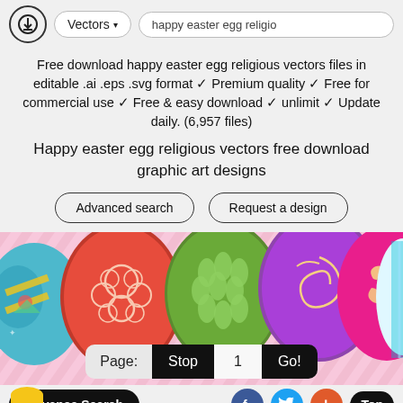Vectors ▾  happy easter egg religio
Free download happy easter egg religious vectors files in editable .ai .eps .svg format ✓ Premium quality ✓ Free for commercial use ✓ Free & easy download ✓ unlimit ✓ Update daily. (6,957 files)
Happy easter egg religious vectors free download graphic art designs
Advanced search
Request a design
[Figure (photo): Decorative Easter eggs with colorful patterns on a pink striped background]
Page:  Stop  1  Go!
Advance Search
f  Twitter  +  Top